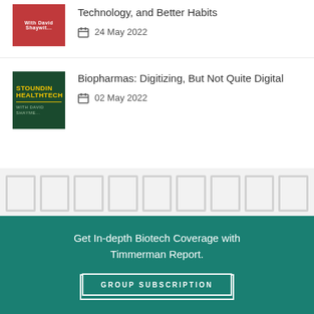Technology, and Better Habits
24 May 2022
[Figure (photo): Astounding Healthtech podcast cover with dark green background, yellow title text]
Biopharmas: Digitizing, But Not Quite Digital
02 May 2022
Get In-depth Biotech Coverage with Timmerman Report.
INDIVIDUAL SUBSCRIPTION
GROUP SUBSCRIPTION